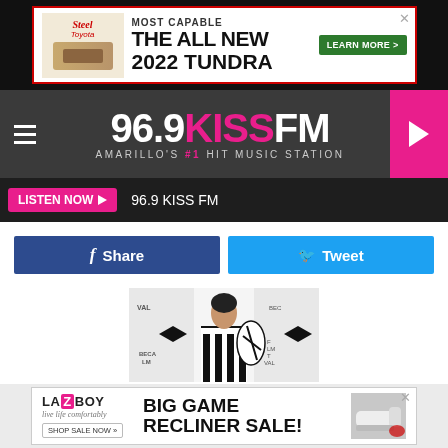[Figure (screenshot): Toyota advertisement banner: MOST CAPABLE THE ALL NEW 2022 TUNDRA with LEARN MORE button]
[Figure (logo): 96.9 KISS FM - Amarillo's #1 Hit Music Station logo with hamburger menu and play button]
LISTEN NOW ▶  96.9 KISS FM
[Figure (screenshot): Facebook Share button and Twitter Tweet button]
[Figure (photo): Woman in black and white striped strapless dress at Tribeca Film Festival backdrop]
[Figure (screenshot): La-Z-Boy advertisement: BIG GAME RECLINER SALE! with SHOP SALE NOW button]